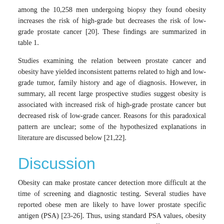among the 10,258 men undergoing biopsy they found obesity increases the risk of high-grade but decreases the risk of low-grade prostate cancer [20]. These findings are summarized in table 1.
Studies examining the relation between prostate cancer and obesity have yielded inconsistent patterns related to high and low-grade tumor, family history and age of diagnosis. However, in summary, all recent large prospective studies suggest obesity is associated with increased risk of high-grade prostate cancer but decreased risk of low-grade cancer. Reasons for this paradoxical pattern are unclear; some of the hypothesized explanations in literature are discussed below [21,22].
Discussion
Obesity can make prostate cancer detection more difficult at the time of screening and diagnostic testing. Several studies have reported obese men are likely to have lower prostate specific antigen (PSA) [23-26]. Thus, using standard PSA values, obesity may make prostate cancer detection more difficult leading to delayed diagnosis. Studies have also suggested that obese men are likely to have larger prostate than non-obese men [25,26]. Larger prostate increases the likelihood of missing existing cancer on core biopsy. [26,27]